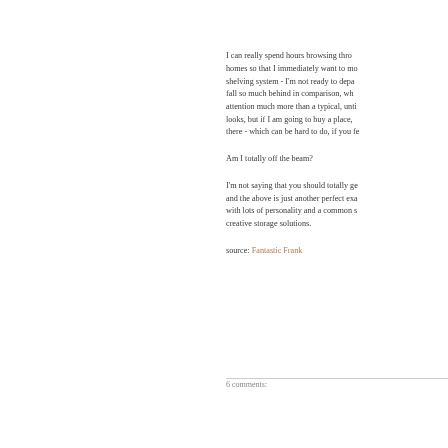I can really spend hours browsing through homes so that I immediately want to move in, shelving system - I'm not ready to depart, fall so much behind in comparison, which gets attention much more than a typical, unti... looks, but if I am going to buy a place, there - which can be hard to do, if you fe...
Am I totally off the beam?
I'm not saying that you should totally ge... and the above is just another perfect exa... with lots of personality and a common t... creative storage solutions.
source: Fantastic Frank
6 comments: